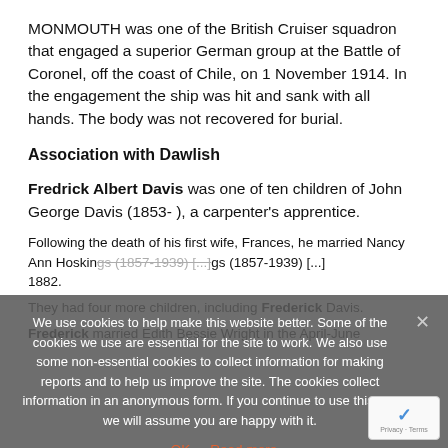MONMOUTH was one of the British Cruiser squadron that engaged a superior German group at the Battle of Coronel, off the coast of Chile, on 1 November 1914. In the engagement the ship was hit and sank with all hands. The body was not recovered for burial.
Association with Dawlish
Fredrick Albert Davis was one of ten children of John George Davis (1853- ), a carpenter's apprentice.
Following the death of his first wife, Frances, he married Nancy Ann Hoskings (1857-1939) [...]  1882.
They had four more children, including Frederick Davis.
Frederick married Edith Bessie Wright in the April-June